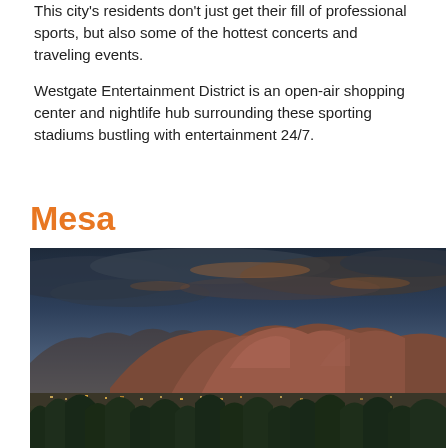This city's residents don't just get their fill of professional sports, but also some of the hottest concerts and traveling events.
Westgate Entertainment District is an open-air shopping center and nightlife hub surrounding these sporting stadiums bustling with entertainment 24/7.
Mesa
[Figure (photo): Aerial panoramic view of a city (Mesa/Sedona area) at dusk with dramatic red rock mountains in the background, dark cloudy sky with hints of orange and purple, and city lights and green trees in the foreground.]